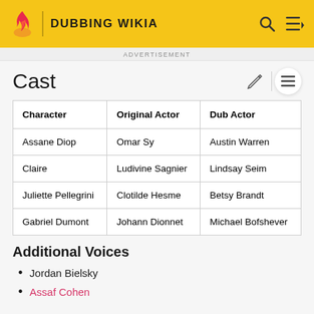DUBBING WIKIA
ADVERTISEMENT
Cast
| Character | Original Actor | Dub Actor |
| --- | --- | --- |
| Assane Diop | Omar Sy | Austin Warren |
| Claire | Ludivine Sagnier | Lindsay Seim |
| Juliette Pellegrini | Clotilde Hesme | Betsy Brandt |
| Gabriel Dumont | Johann Dionnet | Michael Bofshever |
Additional Voices
Jordan Bielsky
Assaf Cohen